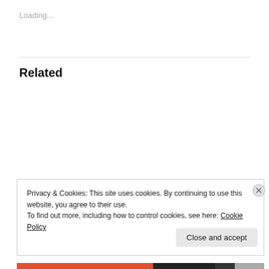Loading...
Related
Celebrate Freedom, Celebrate Repeal Day
December 5, 2008
In "Cocktail Culture"
Happy Repeal Day
December 5, 2009
In "Holidays"
Privacy & Cookies: This site uses cookies. By continuing to use this website, you agree to their use.
To find out more, including how to control cookies, see here: Cookie Policy
Close and accept